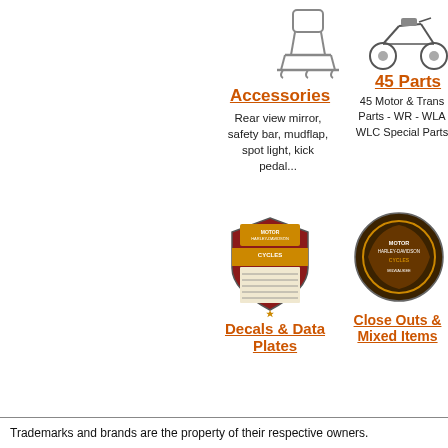[Figure (illustration): Accessories category icon - rear view mirror/luggage rack shaped icon]
Accessories
Rear view mirror, safety bar, mudflap, spot light, kick pedal...
[Figure (illustration): 45 Parts category icon - vintage motorcycle image]
45 Parts
45 Motor & Trans Parts - WR - WLA WLC Special Parts
[Figure (illustration): Decals & Data Plates category icon - Harley-Davidson shield emblem]
Decals & Data Plates
[Figure (illustration): Close Outs & Mixed Items category icon - Harley-Davidson round emblem]
Close Outs & Mixed Items
Trademarks and brands are the property of their respective owners.